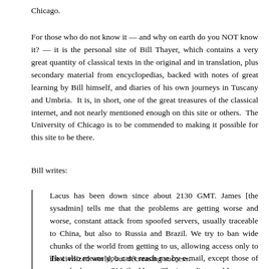Chicago.
For those who do not know it — and why on earth do you NOT know it? — it is the personal site of Bill Thayer, which contains a very great quantity of classical texts in the original and in translation, plus secondary material from encyclopedias, backed with notes of great learning by Bill himself, and diaries of his own journeys in Tuscany and Umbria.  It is, in short, one of the great treasures of the classical internet, and not nearly mentioned enough on this site or others.  The University of Chicago is to be commended to making it possible for this site to be there.
Bill writes:
Lacus has been down since about 2130 GMT. James [the sysadmin] tells me that the problems are getting worse and worse, constant attack from spoofed servers, usually traceable to China, but also to Russia and Brazil. We try to ban wide chunks of the world from getting to us, allowing access only to the civilized world, but decreasing success.
That also means you can't reach me by e-mail, except those of you who have my GMail address. The immediate problem